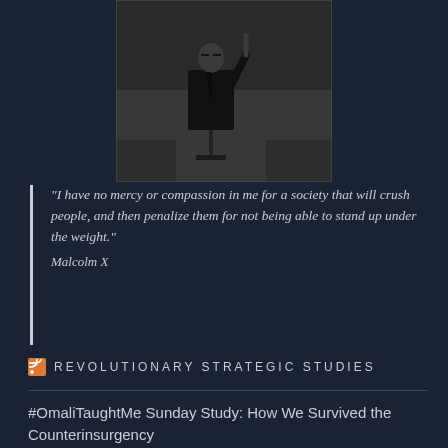[Figure (photo): Black and white photograph of Malcolm X speaking at a podium with a microphone, raising one finger, wearing a suit]
"I have no mercy or compassion in me for a society that will crush people, and then penalize them for not being able to stand up under the weight."
Malcolm X
REVOLUTIONARY STRATEGIC STUDIES
#OmaliTaughtMe Sunday Study: How We Survived the Counterinsurgency